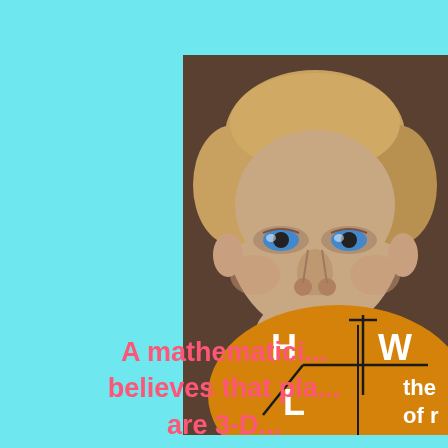[Figure (photo): A book cover showing a man's face in the background (blond hair, blue eyes, serious expression) and an orange sphere with H, W, L labels and axis lines in the foreground, partially cropped on the right side of the page]
A mathematici... believes that pla... are 3-D...